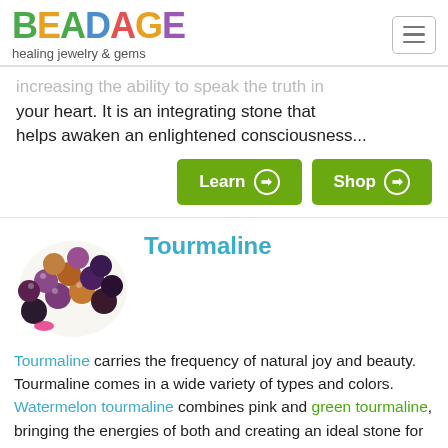BEADAGE healing jewelry & gems
increasing the ability to speak the truth in your heart. It is an integrating stone that helps awaken an enlightened consciousness...
Tourmaline
Tourmaline carries the frequency of natural joy and beauty. Tourmaline comes in a wide variety of types and colors. Watermelon tourmaline combines pink and green tourmaline, bringing the energies of both and creating an ideal stone for working with the...